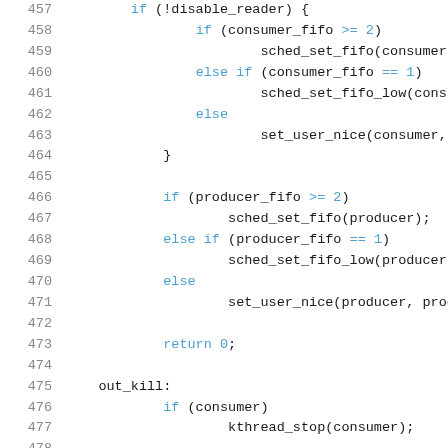Source code listing lines 457-478 showing C code with if/else conditionals for consumer_fifo and producer_fifo scheduling, return statement, out_kill label, and consumer check with kthread_stop call.